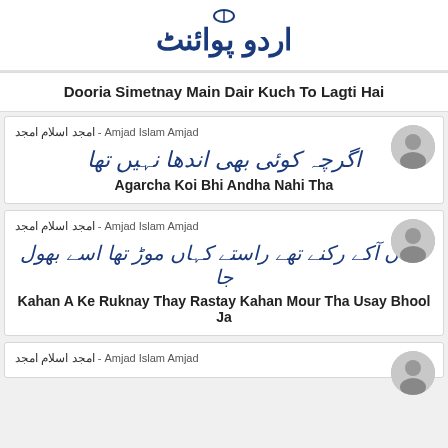[Figure (logo): Urdu Point website logo in Urdu script with blue calligraphic text]
Dooria Simetnay Main Dair Kuch To Lagti Hai
امجد اسلام امجد - Amjad Islam Amjad
اگرچہ کوئی بھی اندھا نہیں تھا
Agarcha Koi Bhi Andha Nahi Tha
امجد اسلام امجد - Amjad Islam Amjad
کہاں آکے رکنے تھے راستے کہاں موڑ تھا اسے بھول جا
Kahan A Ke Ruknay Thay Rastay Kahan Mour Tha Usay Bhool Ja
امجد اسلام امجد - Amjad Islam Amjad